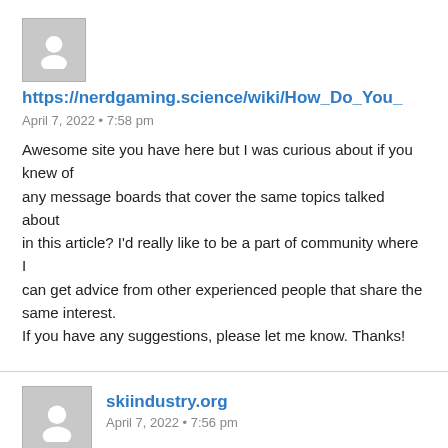[Figure (illustration): Grey avatar placeholder icon with a person silhouette]
https://nerdgaming.science/wiki/How_Do_You_
April 7, 2022 • 7:58 pm
Awesome site you have here but I was curious about if you knew of any message boards that cover the same topics talked about in this article? I'd really like to be a part of community where I can get advice from other experienced people that share the same interest. If you have any suggestions, please let me know. Thanks!
[Figure (illustration): Grey avatar placeholder icon with a person silhouette]
skiindustry.org
April 7, 2022 • 7:56 pm
I was wondering if you ever thought of changing the structure of your website?